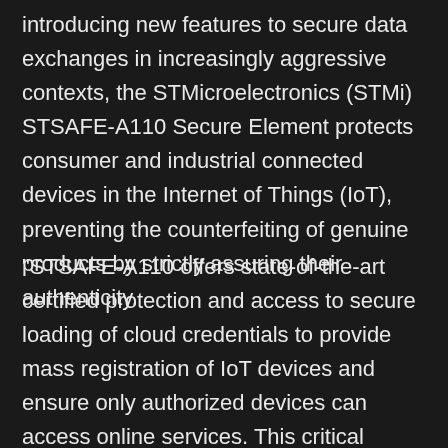introducing new features to secure data exchanges in increasingly aggressive contexts, the STMicroelectronics (STMi) STSAFE-A110 Secure Element protects consumer and industrial connected devices in the Internet of Things (IoT), preventing the counterfeiting of genuine products by strictly assuring their authenticity.
“STSAFE-A110 offers state-of-the-art certified protection and access to secure loading of cloud credentials to provide mass registration of IoT devices and ensure only authorized devices can access online services. This critical secured personalization can be performed at a secure ST factory at no extra cost for yearly quantities in